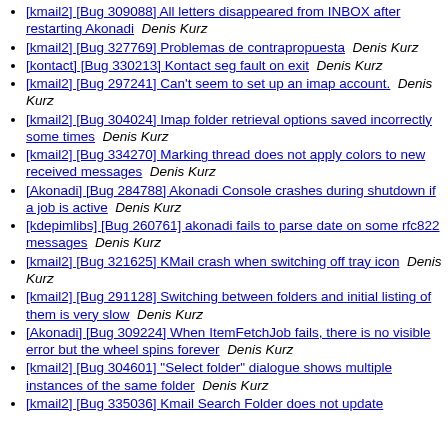[kmail2] [Bug 309088] All letters disappeared from INBOX after restarting Akonadi   Denis Kurz
[kmail2] [Bug 327769] Problemas de contrapropuesta   Denis Kurz
[kontact] [Bug 330213] Kontact seg fault on exit   Denis Kurz
[kmail2] [Bug 297241] Can't seem to set up an imap account.   Denis Kurz
[kmail2] [Bug 304024] Imap folder retrieval options saved incorrectly some times   Denis Kurz
[kmail2] [Bug 334270] Marking thread does not apply colors to new received messages   Denis Kurz
[Akonadi] [Bug 284788] Akonadi Console crashes during shutdown if a job is active   Denis Kurz
[kdepimlibs] [Bug 260761] akonadi fails to parse date on some rfc822 messages   Denis Kurz
[kmail2] [Bug 321625] KMail crash when switching off tray icon   Denis Kurz
[kmail2] [Bug 291128] Switching between folders and initial listing of them is very slow   Denis Kurz
[Akonadi] [Bug 309224] When ItemFetchJob fails, there is no visible error but the wheel spins forever   Denis Kurz
[kmail2] [Bug 304601] "Select folder" dialogue shows multiple instances of the same folder   Denis Kurz
[kmail2] [Bug 335036] Kmail Search Folder does not update